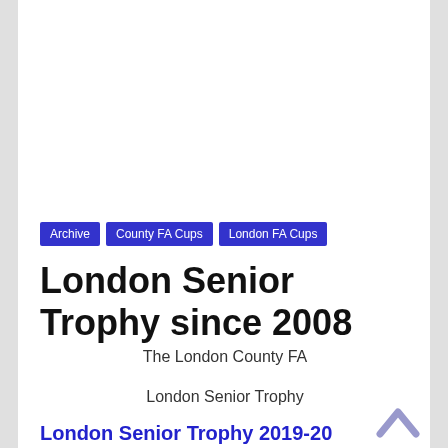Archive
County FA Cups
London FA Cups
London Senior Trophy since 2008
The London County FA
London Senior Trophy
London Senior Trophy 2019-20